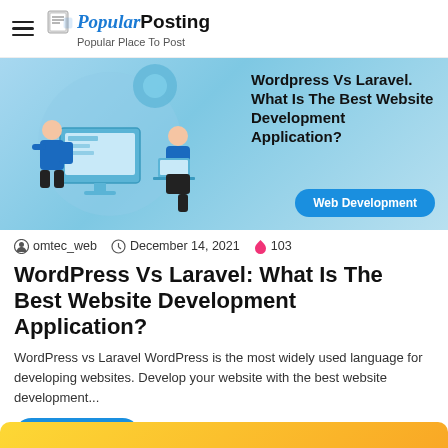Popular Posting — Popular Place To Post
[Figure (illustration): Banner image for article: WordPress Vs Laravel: What Is The Best Website Development Application? Shows two developers with web/app interface elements on a blue gradient background, with 'Web Development' badge button.]
omtec_web  December 14, 2021  103
WordPress Vs Laravel: What Is The Best Website Development Application?
WordPress vs Laravel WordPress is the most widely used language for developing websites. Develop your website with the best website development...
Read More »